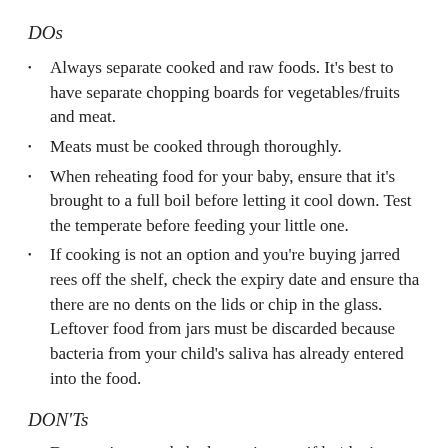DOs
Always separate cooked and raw foods. It's best to have separate chopping boards for vegetables/fruits and meat.
Meats must be cooked through thoroughly.
When reheating food for your baby, ensure that it's brought to a full boil before letting it cool down. Test the temperate before feeding your little one.
If cooking is not an option and you're buying jarred rees off the shelf, check the expiry date and ensure tha there are no dents on the lids or chip in the glass. Leftover food from jars must be discarded because bacteria from your child's saliva has already entered into the food.
DON'Ts
Do not give your baby honey just yet if he/she is below 12 months old as it may contain the clostridium botulinum